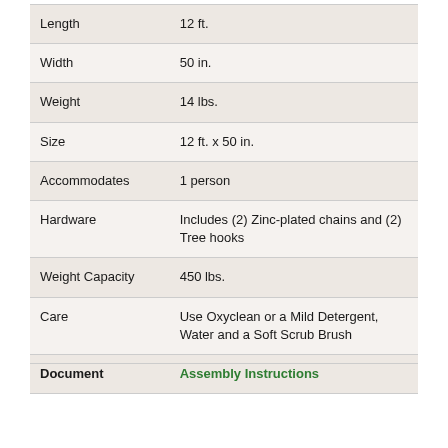| Attribute | Value |
| --- | --- |
| Length | 12 ft. |
| Width | 50 in. |
| Weight | 14 lbs. |
| Size | 12 ft. x 50 in. |
| Accommodates | 1 person |
| Hardware | Includes (2) Zinc-plated chains and (2) Tree hooks |
| Weight Capacity | 450 lbs. |
| Care | Use Oxyclean or a Mild Detergent, Water and a Soft Scrub Brush |
| Document | Assembly Instructions |